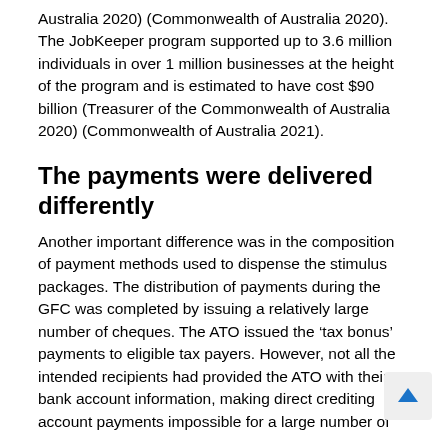Australia 2020) (Commonwealth of Australia 2020). The JobKeeper program supported up to 3.6 million individuals in over 1 million businesses at the height of the program and is estimated to have cost $90 billion (Treasurer of the Commonwealth of Australia 2020) (Commonwealth of Australia 2021).
The payments were delivered differently
Another important difference was in the composition of payment methods used to dispense the stimulus packages. The distribution of payments during the GFC was completed by issuing a relatively large number of cheques. The ATO issued the ‘tax bonus’ payments to eligible tax payers. However, not all the intended recipients had provided the ATO with their bank account information, making direct crediting account payments impossible for a large number of